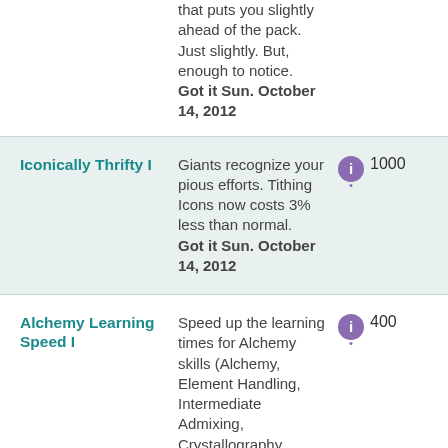that puts you slightly ahead of the pack. Just slightly. But, enough to notice. Got it Sun. October 14, 2012
Iconically Thrifty I
Giants recognize your pious efforts. Tithing Icons now costs 3% less than normal. Got it Sun. October 14, 2012
Alchemy Learning Speed I
Speed up the learning times for Alchemy skills (Alchemy, Element Handling, Intermediate Admixing, Crystallography, Distilling, Tincturing...